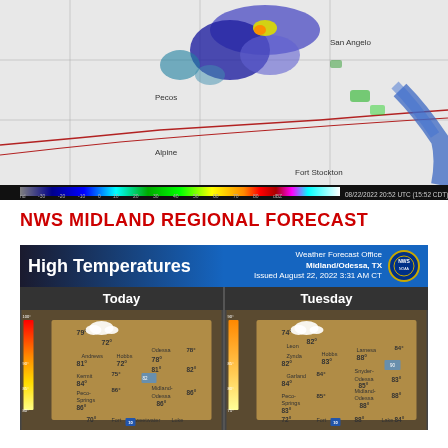[Figure (map): NEXRAD radar image showing precipitation over West Texas region including Fort Stockton, Pecos, Alpine, San Angelo areas. Color scale from -30 to 80 dBZ shown at bottom. Timestamp: 08/22/2022 20:52 UTC (15:52 CDT) KMAF]
NWS MIDLAND REGIONAL FORECAST
[Figure (map): NWS High Temperatures forecast map for Midland/Odessa TX region. Shows Today and Tuesday panels with temperature forecasts ranging from mid-70s to upper 80s Fahrenheit across West Texas counties. Weather Forecast Office Midland/Odessa, TX. Issued August 22, 2022 3:31 AM CT.]